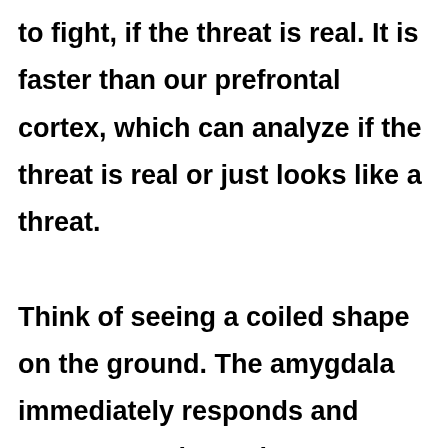to fight, if the threat is real. It is faster than our prefrontal cortex, which can analyze if the threat is real or just looks like a threat.

Think of seeing a coiled shape on the ground. The amygdala immediately responds and starts to set in motion your systems to run or fight. A bit slower, the prefrontal cortex looks closely-is it a